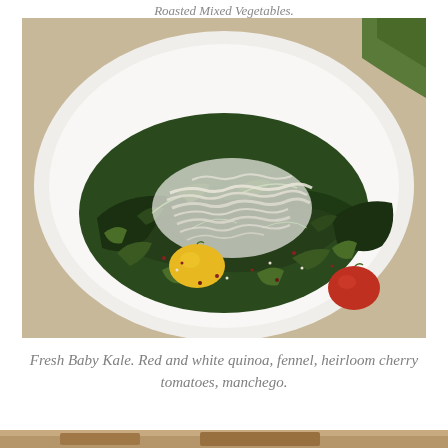Roasted Mixed Vegetables.
[Figure (photo): A white plate with a fresh baby kale salad topped with shredded manchego cheese, red and yellow heirloom cherry tomatoes, fennel, and red and white quinoa.]
Fresh Baby Kale. Red and white quinoa, fennel, heirloom cherry tomatoes, manchego.
[Figure (photo): Partial view of another dish at the bottom of the page, cropped.]